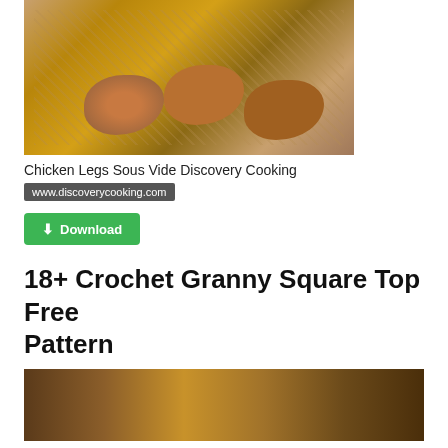[Figure (photo): Photo of fried chicken legs on a plate with a measuring tape, overhead view]
Chicken Legs Sous Vide Discovery Cooking
www.discoverycooking.com
[Figure (other): Green Download button with download icon]
18+ Crochet Granny Square Top Free Pattern
[Figure (photo): Photo of breaded/crumbed food items close up]
[Figure (other): Fast Download button in cyan/blue]
Fast Download